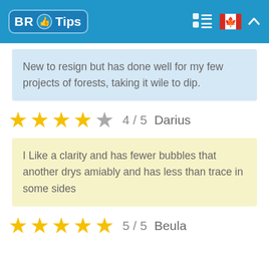BR Tips
New to resign but has done well for my few projects of forests, taking it wile to dip.
★★★★☆ 4 / 5   Darius
I Like a clarity and has fewer bubbles that another drys amiably and has less than trace in some sides
★★★★★ 5 / 5   Beula